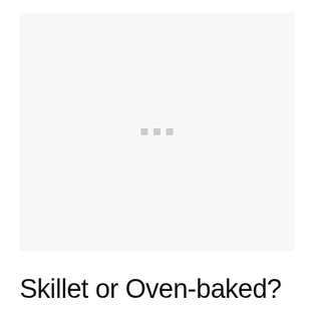[Figure (photo): Light gray placeholder image area with three small gray square dots in the center, indicating a loading or missing image state.]
Skillet or Oven-baked?